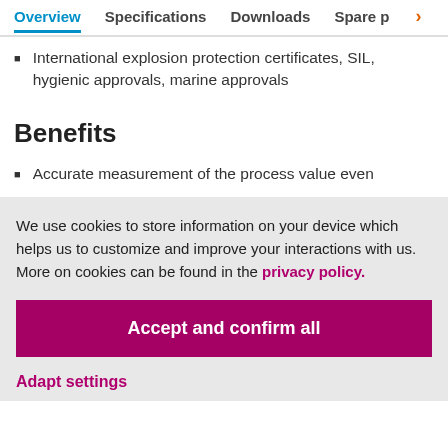Overview  Specifications  Downloads  Spare p >
International explosion protection certificates, SIL, hygienic approvals, marine approvals
Benefits
Accurate measurement of the process value even
We use cookies to store information on your device which helps us to customize and improve your interactions with us. More on cookies can be found in the privacy policy.
Accept and confirm all
Adapt settings